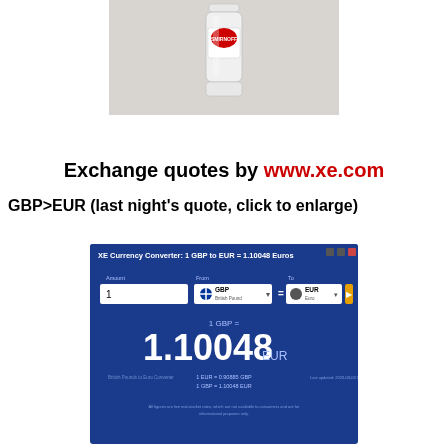[Figure (photo): Photo of a Smirnoff vodka bottle on a light background]
Exchange quotes by www.xe.com
GBP>EUR (last night’s quote, click to enlarge)
[Figure (screenshot): XE Currency Converter screenshot showing 1 GBP to EUR = 1.10048 Euros, with fields for Amount (1), From (GBP British Pound), To (EUR Euro), result 1.10048 EUR, 1 EUR = 0.90885 GBP, 1 GBP = 1.10048 EUR]